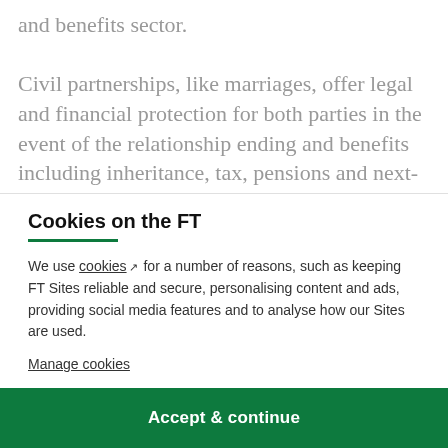and benefits sector.
Civil partnerships, like marriages, offer legal and financial protection for both parties in the event of the relationship ending and benefits including inheritance, tax, pensions and next-of-kin arrangements.
Cookies on the FT
We use cookies ↗ for a number of reasons, such as keeping FT Sites reliable and secure, personalising content and ads, providing social media features and to analyse how our Sites are used.
Manage cookies
Accept & continue